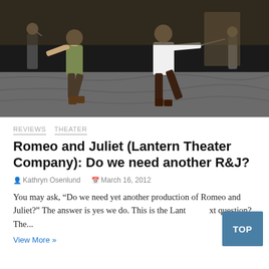[Figure (photo): Two actors in period costume engaged in a sword fight on a theatrical stage. One man in a white shirt lunges forward with a sword, the other in a green vest and boots parries. Additional cast members visible in the background on a stone-floor set.]
REVIEWS  THEATER
Romeo and Juliet (Lantern Theater Company): Do we need another R&J?
Kathryn Osenlund   March 16, 2012
You may ask, “Do we need yet another production of Romeo and Juliet?” The answer is yes we do. This is the Lant… xt question? The...
View More »